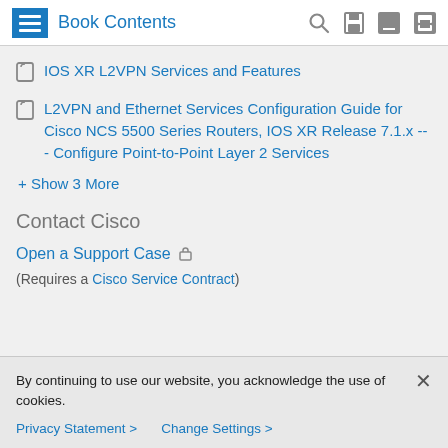Book Contents
IOS XR L2VPN Services and Features
L2VPN and Ethernet Services Configuration Guide for Cisco NCS 5500 Series Routers, IOS XR Release 7.1.x --- Configure Point-to-Point Layer 2 Services
+ Show 3 More
Contact Cisco
Open a Support Case
(Requires a Cisco Service Contract)
By continuing to use our website, you acknowledge the use of cookies.
Privacy Statement > Change Settings >